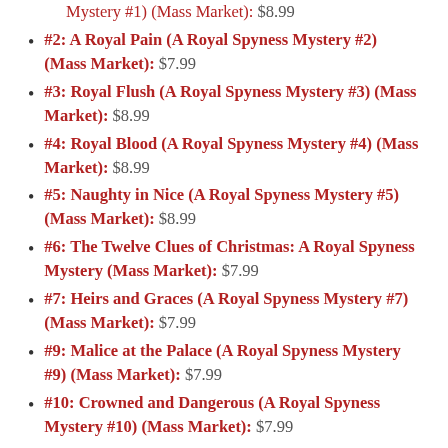Mystery #1) (Mass Market): $8.99
#2: A Royal Pain (A Royal Spyness Mystery #2) (Mass Market): $7.99
#3: Royal Flush (A Royal Spyness Mystery #3) (Mass Market): $8.99
#4: Royal Blood (A Royal Spyness Mystery #4) (Mass Market): $8.99
#5: Naughty in Nice (A Royal Spyness Mystery #5) (Mass Market): $8.99
#6: The Twelve Clues of Christmas: A Royal Spyness Mystery (Mass Market): $7.99
#7: Heirs and Graces (A Royal Spyness Mystery #7) (Mass Market): $7.99
#9: Malice at the Palace (A Royal Spyness Mystery #9) (Mass Market): $7.99
#10: Crowned and Dangerous (A Royal Spyness Mystery #10) (Mass Market): $7.99
#11: On Her Majesty's Frightfully Secret Service...